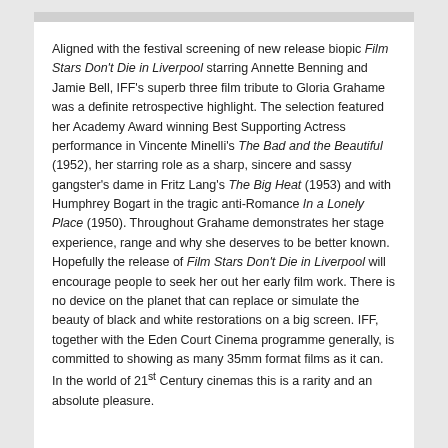Aligned with the festival screening of new release biopic Film Stars Don't Die in Liverpool starring Annette Benning and Jamie Bell, IFF's superb three film tribute to Gloria Grahame was a definite retrospective highlight. The selection featured her Academy Award winning Best Supporting Actress performance in Vincente Minelli's The Bad and the Beautiful (1952), her starring role as a sharp, sincere and sassy gangster's dame in Fritz Lang's The Big Heat (1953) and with Humphrey Bogart in the tragic anti-Romance In a Lonely Place (1950). Throughout Grahame demonstrates her stage experience, range and why she deserves to be better known. Hopefully the release of Film Stars Don't Die in Liverpool will encourage people to seek her out her early film work. There is no device on the planet that can replace or simulate the beauty of black and white restorations on a big screen. IFF, together with the Eden Court Cinema programme generally, is committed to showing as many 35mm format films as it can. In the world of 21st Century cinemas this is a rarity and an absolute pleasure.